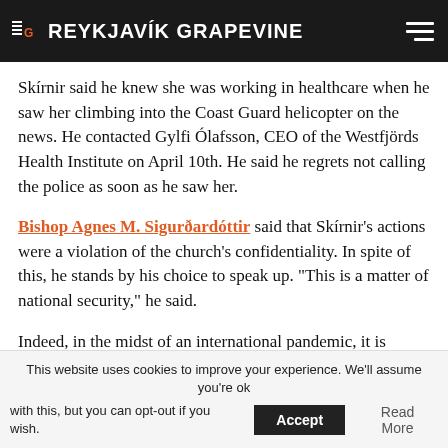THE REYKJAVÍK GRAPEVINE
Skírnir said he knew she was working in healthcare when he saw her climbing into the Coast Guard helicopter on the news. He contacted Gylfi Ólafsson, CEO of the Westfjörds Health Institute on April 10th. He said he regrets not calling the police as soon as he saw her.
Bishop Agnes M. Sigurðardóttir said that Skírnir's actions were a violation of the church's confidentiality. In spite of this, he stands by his choice to speak up. "This is a matter of national security," he said.
Indeed, in the midst of an international pandemic, it is
This website uses cookies to improve your experience. We'll assume you're ok with this, but you can opt-out if you wish.